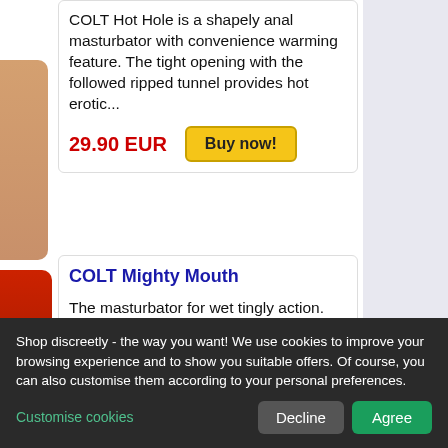COLT Hot Hole is a shapely anal masturbator with convenience warming feature. The tight opening with the followed ripped tunnel provides hot erotic...
29.90 EUR
Buy now!
COLT Mighty Mouth
The masturbator for wet tingly action. The ergonomic designed Mighty Mouth comes with 30 powerful functions of pulsation, vibration and escalation....
69.90 EUR
Buy now!
Shop discreetly - the way you want! We use cookies to improve your browsing experience and to show you suitable offers. Of course, you can also customise them according to your personal preferences.
Customise cookies
Decline
Agree